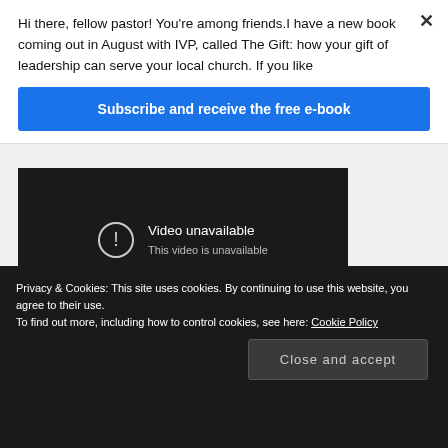Hi there, fellow pastor! You’re among friends.I have a new book coming out in August with IVP, called The Gift: how your gift of leadership can serve your local church. If you like
Subscribe and receive the free e-book
[Figure (screenshot): YouTube video player showing 'Video unavailable - This video is unavailable' message on dark background with play button icon]
[Figure (screenshot): Partial second video block in dark background]
Privacy & Cookies: This site uses cookies. By continuing to use this website, you agree to their use.
To find out more, including how to control cookies, see here: Cookie Policy
Close and accept
Preaching into the pain